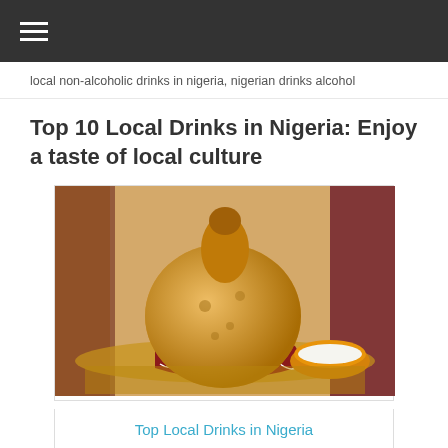≡ (navigation menu)
local non-alcoholic drinks in nigeria, nigerian drinks alcohol
Top 10 Local Drinks in Nigeria: Enjoy a taste of local culture
[Figure (photo): A traditional Nigerian calabash gourd with a small cup of white liquid (palm wine or similar local drink), placed on a decorative red base on a woven mat, with colorful fabric in the background.]
Top Local Drinks in Nigeria
Nigeria, Africa [partially obscured] veloping and